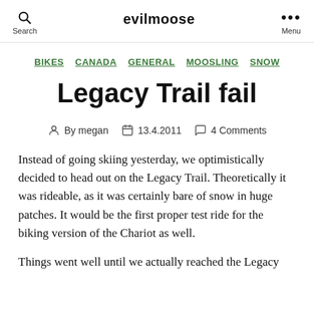Search  evilmoose  Menu
BIKES  CANADA  GENERAL  MOOSLING  SNOW
Legacy Trail fail
By megan  13.4.2011  4 Comments
Instead of going skiing yesterday, we optimistically decided to head out on the Legacy Trail. Theoretically it was rideable, as it was certainly bare of snow in huge patches. It would be the first proper test ride for the biking version of the Chariot as well.
Things went well until we actually reached the Legacy